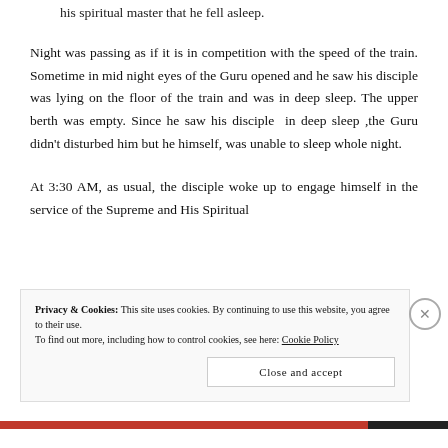his spiritual master that he fell asleep.
Night was passing as if it is in competition with the speed of the train. Sometime in mid night eyes of the Guru opened and he saw his disciple was lying on the floor of the train and was in deep sleep. The upper berth was empty. Since he saw his disciple in deep sleep ,the Guru didn't disturbed him but he himself, was unable to sleep whole night.
At 3:30 AM, as usual, the disciple woke up to engage himself in the service of the Supreme and His Spiritual
Privacy & Cookies: This site uses cookies. By continuing to use this website, you agree to their use.
To find out more, including how to control cookies, see here: Cookie Policy
Close and accept